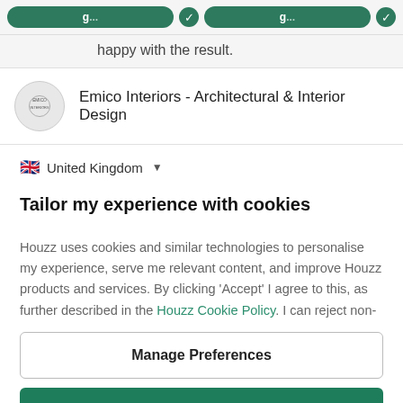happy with the result.
Emico Interiors - Architectural & Interior Design
United Kingdom
Tailor my experience with cookies
Houzz uses cookies and similar technologies to personalise my experience, serve me relevant content, and improve Houzz products and services. By clicking 'Accept' I agree to this, as further described in the Houzz Cookie Policy. I can reject non-
Manage Preferences
Accept